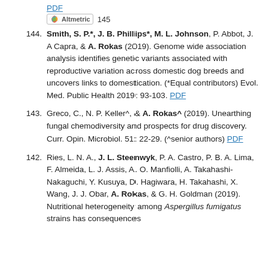PDF
[Figure (other): Altmetric badge showing score 145]
144. Smith, S. P.*, J. B. Phillips*, M. L. Johnson, P. Abbot, J. A Capra, & A. Rokas (2019). Genome wide association analysis identifies genetic variants associated with reproductive variation across domestic dog breeds and uncovers links to domestication. (*Equal contributors) Evol. Med. Public Health 2019: 93-103. PDF
143. Greco, C., N. P. Keller^, & A. Rokas^ (2019). Unearthing fungal chemodiversity and prospects for drug discovery. Curr. Opin. Microbiol. 51: 22-29. (^senior authors) PDF
142. Ries, L. N. A., J. L. Steenwyk, P. A. Castro, P. B. A. Lima, F. Almeida, L. J. Assis, A. O. Manfiolli, A. Takahashi-Nakaguchi, Y. Kusuya, D. Hagiwara, H. Takahashi, X. Wang, J. J. Obar, A. Rokas, & G. H. Goldman (2019). Nutritional heterogeneity among Aspergillus fumigatus strains has consequences